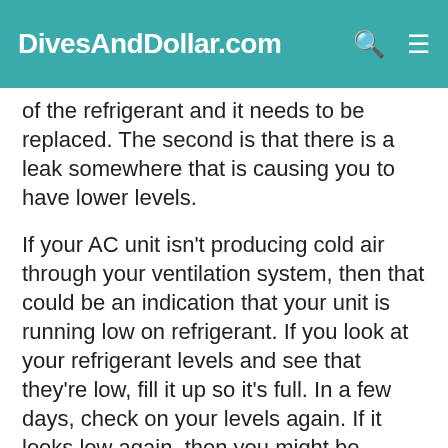DivesAndDollar.com
of the refrigerant and it needs to be replaced. The second is that there is a leak somewhere that is causing you to have lower levels.
If your AC unit isn't producing cold air through your ventilation system, then that could be an indication that your unit is running low on refrigerant. If you look at your refrigerant levels and see that they're low, fill it up so it's full. In a few days, check on your levels again. If it looks low again, then you might be looking at a leak. In